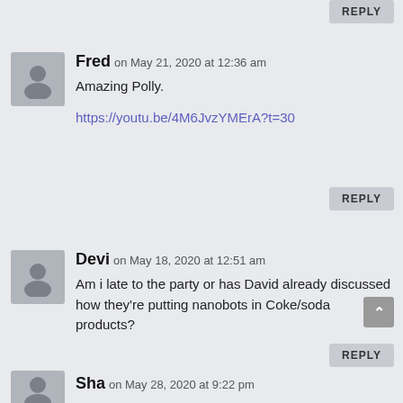REPLY
Fred on May 21, 2020 at 12:36 am
Amazing Polly.
https://youtu.be/4M6JvzYMErA?t=30
REPLY
Devi on May 18, 2020 at 12:51 am
Am i late to the party or has David already discussed how they're putting nanobots in Coke/soda products?
REPLY
Sha on May 28, 2020 at 9:22 pm